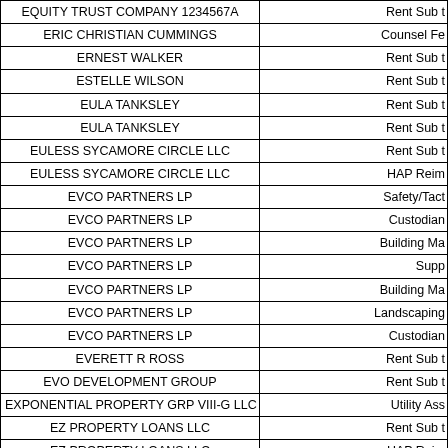| [Vendor Name] | [Payment Type] |
| --- | --- |
| EQUITY TRUST COMPANY 1234567A | Rent Sub t |
| ERIC CHRISTIAN CUMMINGS | Counsel Fe |
| ERNEST WALKER | Rent Sub t |
| ESTELLE WILSON | Rent Sub t |
| EULA TANKSLEY | Rent Sub t |
| EULA TANKSLEY | Rent Sub t |
| EULESS SYCAMORE CIRCLE LLC | Rent Sub t |
| EULESS SYCAMORE CIRCLE LLC | HAP Reim |
| EVCO PARTNERS LP | Safety/Tact |
| EVCO PARTNERS LP | Custodian |
| EVCO PARTNERS LP | Building Ma |
| EVCO PARTNERS LP | Supp |
| EVCO PARTNERS LP | Building Ma |
| EVCO PARTNERS LP | Landscaping |
| EVCO PARTNERS LP | Custodian |
| EVERETT R ROSS | Rent Sub t |
| EVO DEVELOPMENT GROUP | Rent Sub t |
| EXPONENTIAL PROPERTY GRP VIII-G LLC | Utility Ass |
| EZ PROPERTY LOANS LLC | Rent Sub t |
| EZ PROPERTY LOANS LLC | HAP Reim |
| F WAYNE CABANSAG | Rent Sub t |
| FACILITY SOLUTIONS GROUP INC | Building Ma |
| FACILITY SOLUTIONS GROUP INC | Building Ma |
| FACTOR AND CAMPBELL | Counsel Fe |